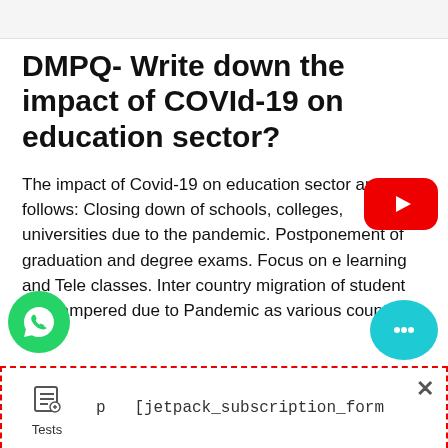DMPQ- Write down the impact of COVId-19 on education sector?
The impact of Covid-19 on education sector are as follows: Closing down of schools, colleges, universities due to the pandemic. Postponement of graduation and degree exams. Focus on e learning and Tele classes. Inter country migration of student got hampered due to Pandemic as various countries
[Figure (logo): YouTube play button icon (red rounded rectangle with white triangle)]
[Figure (logo): WhatsApp icon (green circle with white phone handset)]
[Figure (logo): Chat bubble icon (teal circle with three dots)]
Tests   p   [jetpack_subscription_form